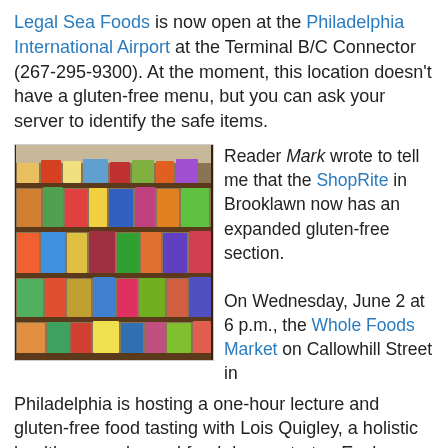Legal Sea Foods is now open at the Philadelphia International Airport at the Terminal B/C Connector (267-295-9300). At the moment, this location doesn't have a gluten-free menu, but you can ask your server to identify the safe items.
[Figure (photo): Photo of a grocery store aisle with multiple shelves stocked with packaged snack food products]
Reader Mark wrote to tell me that the ShopRite in Brooklawn now has an expanded gluten-free section.

On Wednesday, June 2 at 6 p.m., the Whole Foods Market on Callowhill Street in Philadelphia is hosting a one-hour lecture and gluten-free food tasting with Lois Quigley, a holistic health counselor and food demonstrator. Each attendee will walk away with a special goody bag filled with gluten-free products. To register, e-mail Laura Enoch by Monday, May 31.